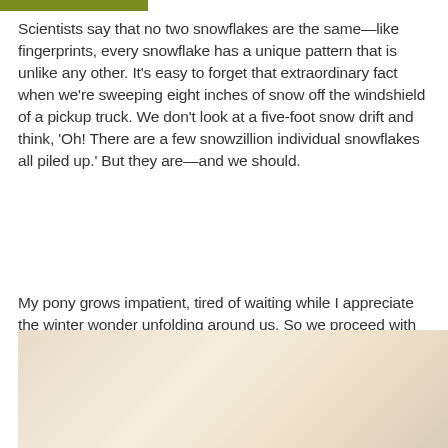Scientists say that no two snowflakes are the same—like fingerprints, every snowflake has a unique pattern that is unlike any other. It's easy to forget that extraordinary fact when we're sweeping eight inches of snow off the windshield of a pickup truck. We don't look at a five-foot snow drift and think, 'Oh! There are a few snowzillion individual snowflakes all piled up.' But they are—and we should.
My pony grows impatient, tired of waiting while I appreciate the winter wonder unfolding around us. So we proceed with our day, but first I brush a few snowflakes from her forelock and marvel at the miracle of it all.
[Figure (photo): Partial view of a light beige/cream colored background, possibly a photo of snow or a light-colored surface, cropped at the bottom of the page.]